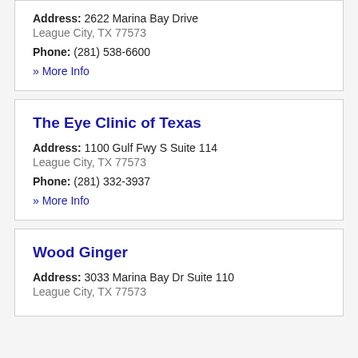Address: 2622 Marina Bay Drive
League City, TX 77573
Phone: (281) 538-6600
» More Info
The Eye Clinic of Texas
Address: 1100 Gulf Fwy S Suite 114
League City, TX 77573
Phone: (281) 332-3937
» More Info
Wood Ginger
Address: 3033 Marina Bay Dr Suite 110
League City, TX 77573